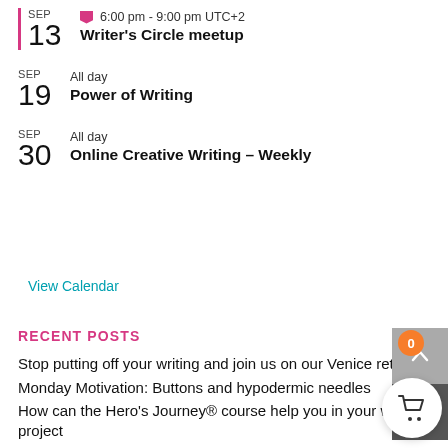SEP 13 | 6:00 pm - 9:00 pm UTC+2 | Writer's Circle meetup
SEP 19 | All day | Power of Writing
SEP 30 | All day | Online Creative Writing – Weekly
View Calendar
RECENT POSTS
Stop putting off your writing and join us on our Venice retreat
Monday Motivation: Buttons and hypodermic needles
How can the Hero's Journey® course help you in your writing project
Monday Motivation: The colonel finds his teeth
August Newsletter: There's still time to get unstuck